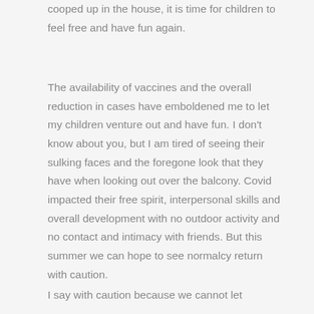cooped up in the house, it is time for children to feel free and have fun again.
The availability of vaccines and the overall reduction in cases have emboldened me to let my children venture out and have fun. I don't know about you, but I am tired of seeing their sulking faces and the foregone look that they have when looking out over the balcony. Covid impacted their free spirit, interpersonal skills and overall development with no outdoor activity and no contact and intimacy with friends. But this summer we can hope to see normalcy return with caution.
I say with caution because we cannot let